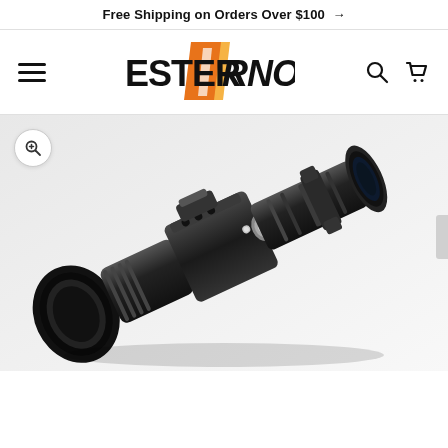Free Shipping on Orders Over $100 →
[Figure (logo): ESTERRNO brand logo with orange parallelogram shapes and bold black text]
[Figure (photo): A tactical night vision rifle scope in black, photographed at an angle on a light gray/white background. The scope has an eyepiece on the left, a central body with controls, and an objective lens on the right. A small zoom button icon is visible in the top-left corner of the image.]